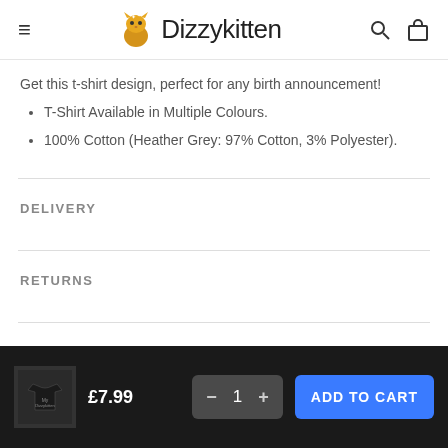Dizzykitten
Get this t-shirt design, perfect for any birth announcement!
T-Shirt Available in Multiple Colours.
100% Cotton (Heather Grey: 97% Cotton, 3% Polyester).
DELIVERY
RETURNS
REVIEWS
£7.99  −  1  +  ADD TO CART